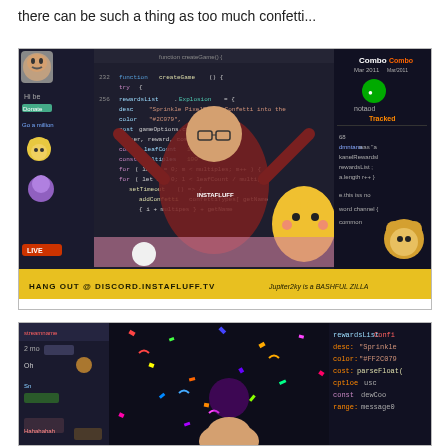there can be such a thing as too much confetti...
[Figure (screenshot): Screenshot of a live stream showing a person in a red hoodie with arms raised in front of a code editor. Various cartoon character overlays (Pikachu, etc.) are visible. The stream overlay shows 'HANG OUT @ DISCORD.INSTAFLUFF.TV' and 'Jupiter2ky is a BASHFUL ZILLA'. Code visible includes function createGame(), rewardsList, confettiTypes, and other JavaScript code. Two stream panels visible with Combo counters and 'Tracked' label.]
[Figure (screenshot): Second screenshot showing confetti falling over a dark background with code partially visible on the right side showing rewardsList, 'Sprinkle', color: '#FF2C079', cost, parseFloat, const dewCoo, range, message. A person's face is partially visible at the bottom center. Chat sidebar visible on the left with messages including 'Oh' and 'Hahahahah'.]